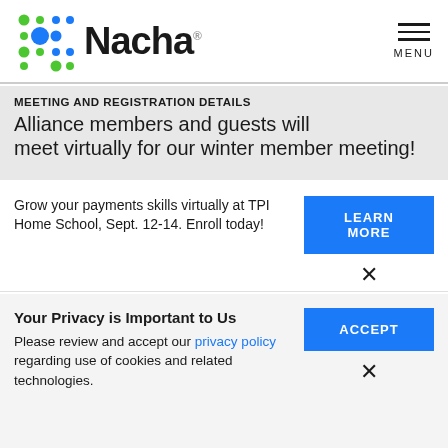[Figure (logo): Nacha logo with colorful dot pattern and wordmark]
MEETING AND REGISTRATION DETAILS
Alliance members and guests will meet virtually for our winter member meeting!
Grow your payments skills virtually at TPI Home School, Sept. 12-14. Enroll today!
LEARN MORE
Your Privacy is Important to Us
Please review and accept our privacy policy regarding use of cookies and related technologies.
ACCEPT